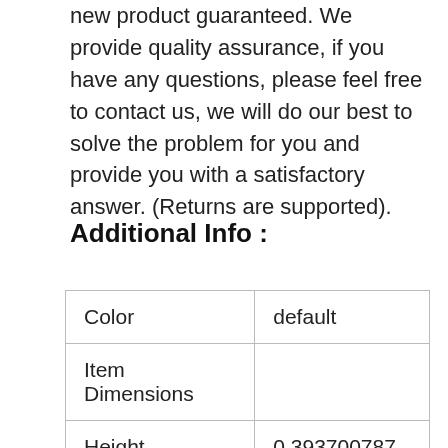new product guaranteed. We provide quality assurance, if you have any questions, please feel free to contact us, we will do our best to solve the problem for you and provide you with a satisfactory answer. (Returns are supported).
Additional Info :
| Color | default |
| Item Dimensions |  |
| Height | 0.393700787 |
| Width | 0.393700787 |